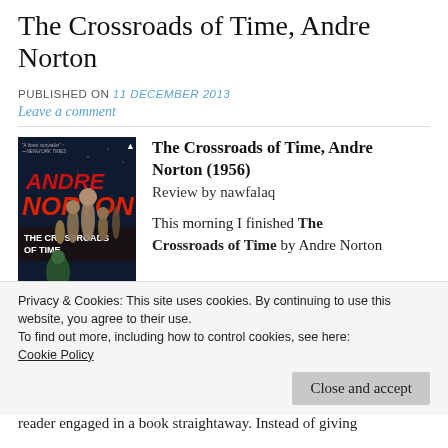The Crossroads of Time, Andre Norton
PUBLISHED ON 11 December 2013
Leave a comment
[Figure (photo): Book cover of The Crossroads of Time by Andre Norton (1956), showing alien stone towers in a dark sci-fi setting with the author name in red letters.]
The Crossroads of Time, Andre Norton (1956)
Review by nawfalaq

This morning I finished The Crossroads of Time by Andre Norton
Privacy & Cookies: This site uses cookies. By continuing to use this website, you agree to their use.
To find out more, including how to control cookies, see here:
Cookie Policy
Close and accept
reader engaged in a book straightaway. Instead of giving